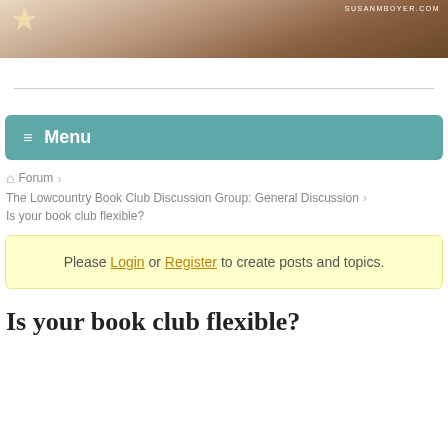[Figure (photo): Website banner for susanmboyer.com with star decoration and sandy/earthy background texture]
≡ Menu
Forum > The Lowcountry Book Club Discussion Group: General Discussion > Is your book club flexible?
Please Login or Register to create posts and topics.
Is your book club flexible?